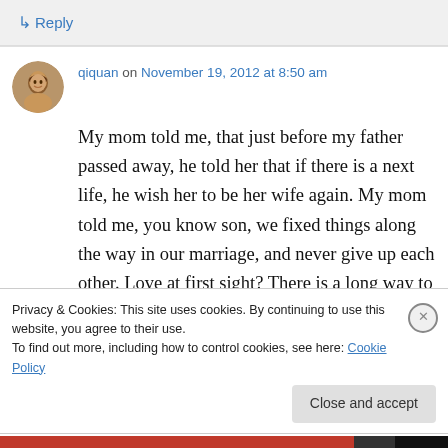↳ Reply
qiquan on November 19, 2012 at 8:50 am
My mom told me, that just before my father passed away, he told her that if there is a next life, he wish her to be her wife again. My mom told me, you know son, we fixed things along the way in our marriage, and never give up each other. Love at first sight? There is a long way to
Privacy & Cookies: This site uses cookies. By continuing to use this website, you agree to their use.
To find out more, including how to control cookies, see here: Cookie Policy
Close and accept